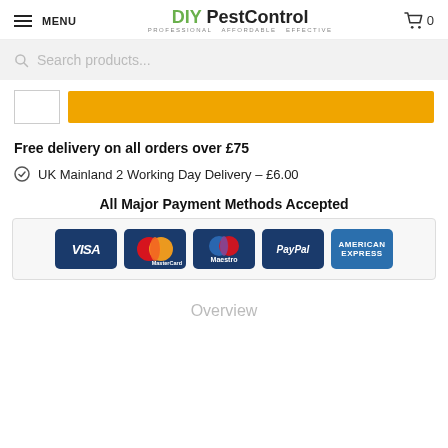MENU | DIY PestControl PROFESSIONAL AFFORDABLE EFFECTIVE | 0
[Figure (screenshot): Search bar with placeholder text 'Search products...']
[Figure (screenshot): Orange Add to Cart button with quantity input box]
Free delivery on all orders over £75
UK Mainland 2 Working Day Delivery – £6.00
All Major Payment Methods Accepted
[Figure (infographic): Payment method logos: VISA, MasterCard, Maestro, PayPal, American Express]
Overview